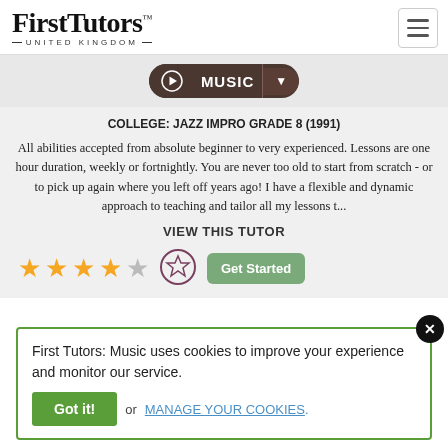[Figure (logo): First Tutors United Kingdom logo]
[Figure (screenshot): Music navigation pill with music note icon and dropdown arrow]
COLLEGE: JAZZ IMPRO GRADE 8 (1991)
All abilities accepted from absolute beginner to very experienced. Lessons are one hour duration, weekly or fortnightly. You are never too old to start from scratch - or to pick up again where you left off years ago! I have a flexible and dynamic approach to teaching and tailor all my lessons t...
VIEW THIS TUTOR
[Figure (infographic): 4 gold stars and 1 grey star rating, a favourite badge icon, and a Get Started button]
First Tutors: Music uses cookies to improve your experience and monitor our service.
Got it! or MANAGE YOUR COOKIES.